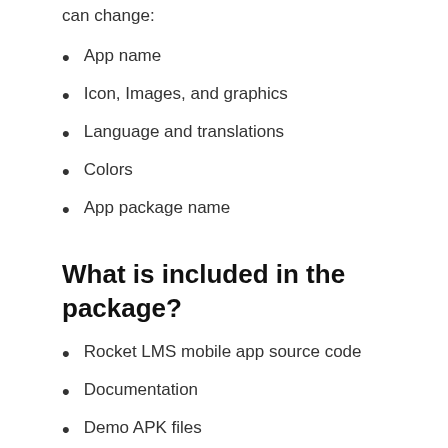can change:
App name
Icon, Images, and graphics
Language and translations
Colors
App package name
What is included in the package?
Rocket LMS mobile app source code
Documentation
Demo APK files